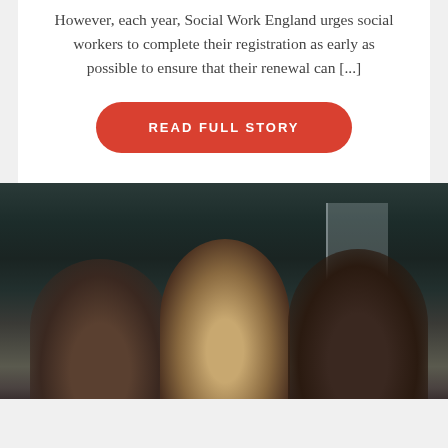However, each year, Social Work England urges social workers to complete their registration as early as possible to ensure that their renewal can [...]
[Figure (other): A red rounded-rectangle button with white bold uppercase text reading 'READ FULL STORY']
[Figure (photo): A dark-toned outdoor photograph showing two or three people with heads close together, with a building wall in the background. The scene appears dimly lit with dark and muted tones.]